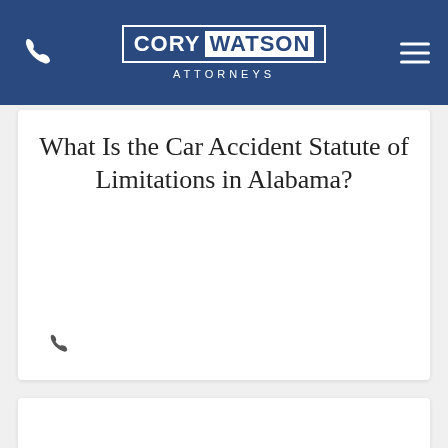Cory Watson Attorneys
What Is the Car Accident Statute of Limitations in Alabama?